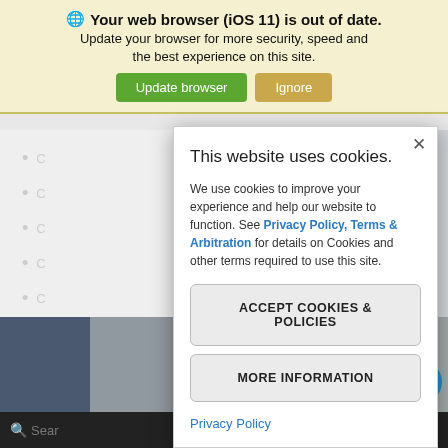Your web browser (iOS 11) is out of date.
Update your browser for more security, speed and the best experience on this site.
This website uses cookies.
We use cookies to improve your experience and help our website to function. See Privacy Policy, Terms & Arbitration for details on Cookies and other terms required to use this site.
ACCEPT COOKIES & POLICIES
MORE INFORMATION
Privacy Policy